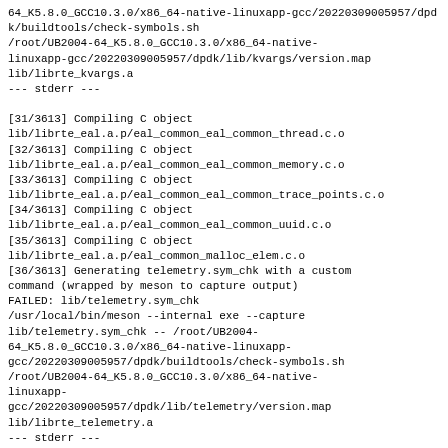64_K5.8.0_GCC10.3.0/x86_64-native-linuxapp-gcc/20220309005957/dpdk/buildtools/check-symbols.sh
/root/UB2004-64_K5.8.0_GCC10.3.0/x86_64-native-linuxapp-gcc/20220309005957/dpdk/lib/kvargs/version.map
lib/librte_kvargs.a
--- stderr ---

[31/3613] Compiling C object
lib/librte_eal.a.p/eal_common_eal_common_thread.c.o
[32/3613] Compiling C object
lib/librte_eal.a.p/eal_common_eal_common_memory.c.o
[33/3613] Compiling C object
lib/librte_eal.a.p/eal_common_eal_common_trace_points.c.o
[34/3613] Compiling C object
lib/librte_eal.a.p/eal_common_eal_common_uuid.c.o
[35/3613] Compiling C object
lib/librte_eal.a.p/eal_common_malloc_elem.c.o
[36/3613] Generating telemetry.sym_chk with a custom
command (wrapped by meson to capture output)
FAILED: lib/telemetry.sym_chk
/usr/local/bin/meson --internal exe --capture
lib/telemetry.sym_chk -- /root/UB2004-
64_K5.8.0_GCC10.3.0/x86_64-native-linuxapp-gcc/20220309005957/dpdk/buildtools/check-symbols.sh
/root/UB2004-64_K5.8.0_GCC10.3.0/x86_64-native-linuxapp-gcc/20220309005957/dpdk/lib/telemetry/version.map
lib/librte_telemetry.a
--- stderr ---